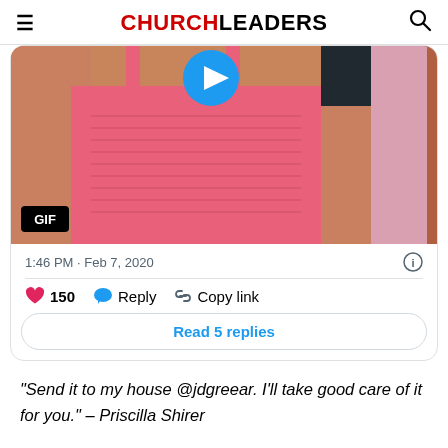CHURCHLEADERS
[Figure (screenshot): Screenshot of a Twitter/social media post showing a GIF of a person in a pink top with a play button overlay and GIF badge. Below the image: timestamp '1:46 PM · Feb 7, 2020', like count 150, Reply, Copy link actions, and 'Read 5 replies' button.]
“Send it to my house @jdgreear. I’ll take good care of it for you.” – Priscilla Shirer